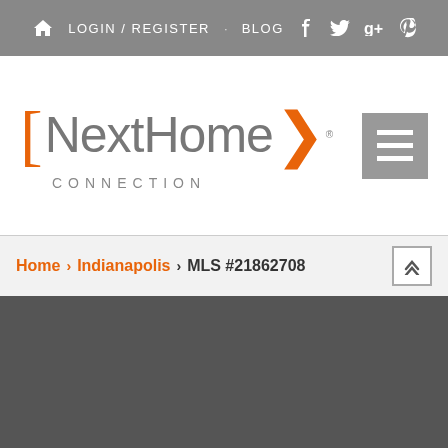HOME  LOGIN / REGISTER  BLOG  [social icons: Facebook, Twitter, Google+, Pinterest]
[Figure (logo): NextHome Connection logo with orange bracket, grey text NextHome, orange chevron arrow, and grey CONNECTION text below]
[Figure (other): Grey hamburger menu button with three white horizontal lines]
Home > Indianapolis > MLS #21862708
[Figure (other): Dark grey content area at the bottom of the page]